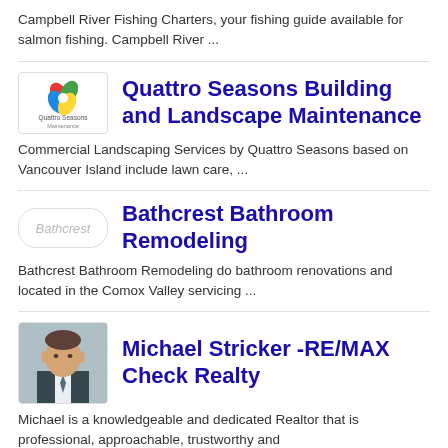Campbell River Fishing Charters, your fishing guide available for salmon fishing. Campbell River ...
Quattro Seasons Building and Landscape Maintenance
Commercial Landscaping Services by Quattro Seasons based on Vancouver Island include lawn care, ...
Bathcrest Bathroom Remodeling
Bathcrest Bathroom Remodeling do bathroom renovations and located in the Comox Valley servicing ...
Michael Stricker -RE/MAX Check Realty
Michael is a knowledgeable and dedicated Realtor that is professional, approachable, trustworthy and